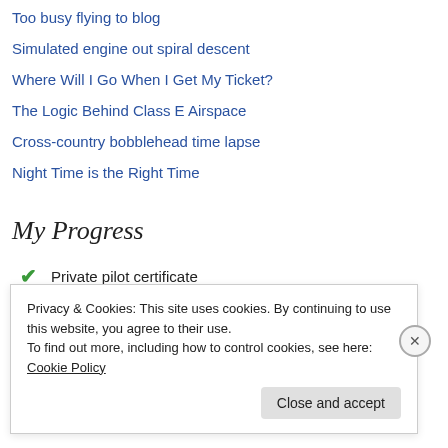Too busy flying to blog
Simulated engine out spiral descent
Where Will I Go When I Get My Ticket?
The Logic Behind Class E Airspace
Cross-country bobblehead time lapse
Night Time is the Right Time
My Progress
✔ Private pilot certificate
✔ Cessna 172 checkout
Privacy & Cookies: This site uses cookies. By continuing to use this website, you agree to their use.
To find out more, including how to control cookies, see here: Cookie Policy